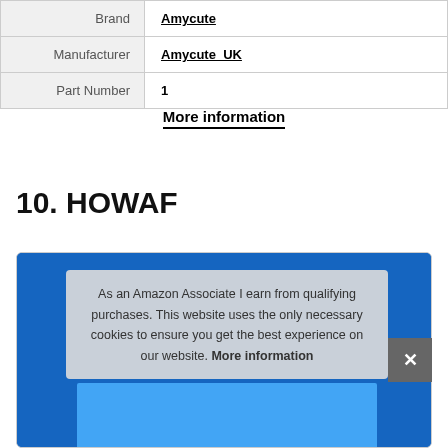| Brand | Amycute |
| Manufacturer | Amycute_UK |
| Part Number | 1 |
More information
10. HOWAF
[Figure (other): Product card with blue background image partially visible, overlaid by a cookie consent notice popup.]
As an Amazon Associate I earn from qualifying purchases. This website uses the only necessary cookies to ensure you get the best experience on our website. More information